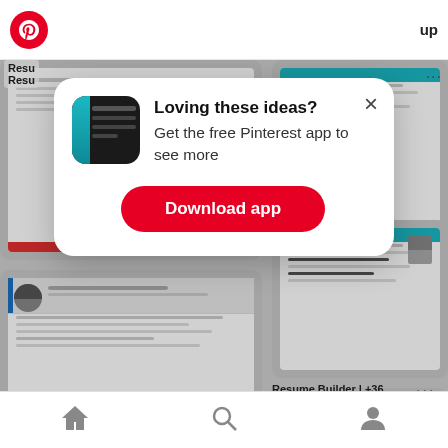[Figure (screenshot): Pinterest mobile app screenshot showing a popup modal with 'Loving these ideas? Get the free Pinterest app to see more' and a Download app button, overlaying a grid of resume template pins.]
Loving these ideas? Get the free Pinterest app to see more
Download app
Resume Builder | +36 Resume Templates...
Resume Builder | +36 Resume Templates...